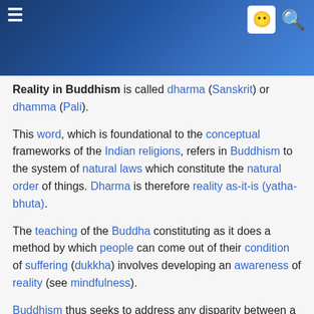Wikipedia article header with navigation icons
Reality in Buddhism is called dharma (Sanskrit) or dhamma (Pali).
This word, which is foundational to the conceptual frameworks of the Indian religions, refers in Buddhism to the system of natural laws which constitute the natural order of things. Dharma is therefore reality as-it-is (yatha-bhuta).
The teaching of the Buddha constituting as it does a method by which people can come out of their condition of suffering (dukkha) involves developing an awareness of reality (see mindfulness).
Buddhism thus seeks to address any disparity between a person's view of reality and the actual state of things.
This is called developing Right or Correct View (Pali: samma ditthi).
Seeing reality as-it-is is thus an essential prerequisite to mental health and well-being according to Buddha's teaching.
Buddhism addresses deeply philosophical questions regarding the nature of reality.
One of the fundamental teachings is that all the constituent forms